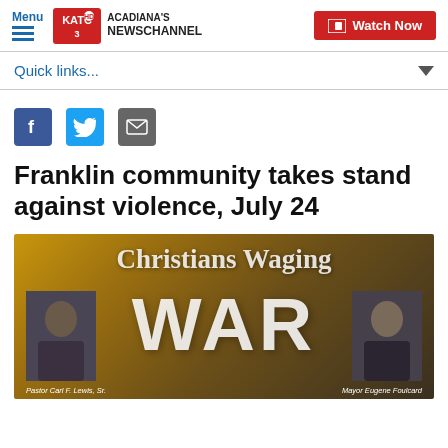Menu | KATC ACADIANA'S NEWSCHANNEL | Watch Now
Quick links...
[Figure (other): Social sharing icons: Facebook, Twitter, Email]
Franklin community takes stand against violence, July 24
[Figure (photo): Promotional image for 'Christians Waging WAR' event. Features large white text on a golden-brown background with two portrait photos: Pastor Carl F. Lewis, Sr. on the left and Mayor Eugene Foulcard on the right.]